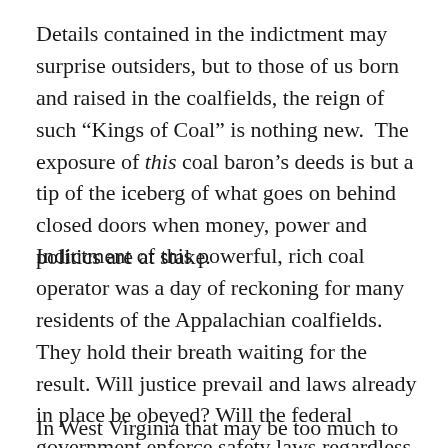Details contained in the indictment may surprise outsiders, but to those of us born and raised in the coalfields, the reign of such “Kings of Coal” is nothing new.  The exposure of this coal baron’s deeds is but a tip of the iceberg of what goes on behind closed doors when money, power and politics are at stake.
Indictment of this powerful, rich coal operator was a day of reckoning for many residents of the Appalachian coalfields. They hold their breath waiting for the result. Will justice prevail and laws already in place be obeyed? Will the federal government enforce safety laws regardless of money and political connections?
In West Virginia that may be too much to expect.  I